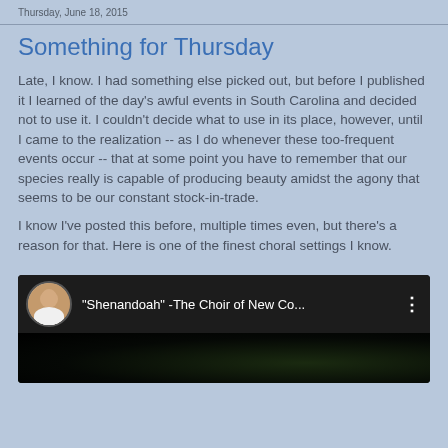Thursday, June 18, 2015
Something for Thursday
Late, I know. I had something else picked out, but before I published it I learned of the day's awful events in South Carolina and decided not to use it. I couldn't decide what to use in its place, however, until I came to the realization -- as I do whenever these too-frequent events occur -- that at some point you have to remember that our species really is capable of producing beauty amidst the agony that seems to be our constant stock-in-trade.
I know I've posted this before, multiple times even, but there's a reason for that. Here is one of the finest choral settings I know.
[Figure (screenshot): YouTube video thumbnail showing '"Shenandoah" -The Choir of New Co...' with a circular avatar of a person on the left and a three-dot menu icon on the right, dark background below.]